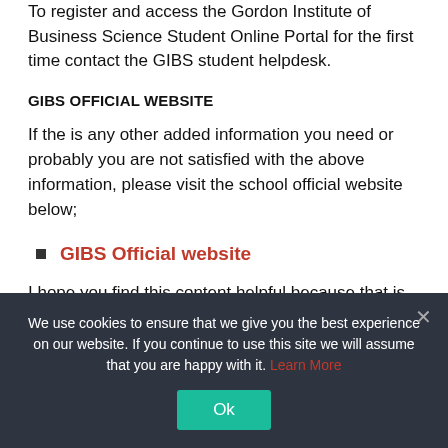To register and access the Gordon Institute of Business Science Student Online Portal for the first time contact the GIBS student helpdesk.
GIBS OFFICIAL WEBSITE
If the is any other added information you need or probably you are not satisfied with the above information, please visit the school official website below;
GIBS Official website
I hope you find this content helpful because that is
We use cookies to ensure that we give you the best experience on our website. If you continue to use this site we will assume that you are happy with it. Learn More
Ok